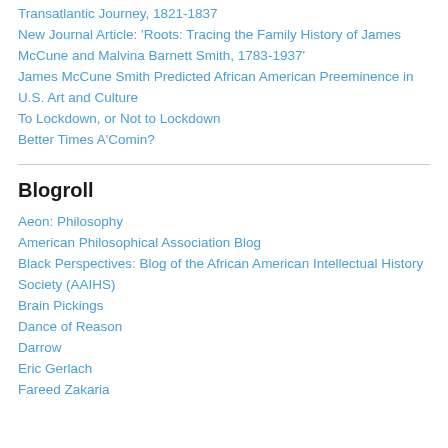Transatlantic Journey, 1821-1837
New Journal Article: 'Roots: Tracing the Family History of James McCune and Malvina Barnett Smith, 1783-1937'
James McCune Smith Predicted African American Preeminence in U.S. Art and Culture
To Lockdown, or Not to Lockdown
Better Times A'Comin?
Blogroll
Aeon: Philosophy
American Philosophical Association Blog
Black Perspectives: Blog of the African American Intellectual History Society (AAIHS)
Brain Pickings
Dance of Reason
Darrow
Eric Gerlach
Fareed Zakaria